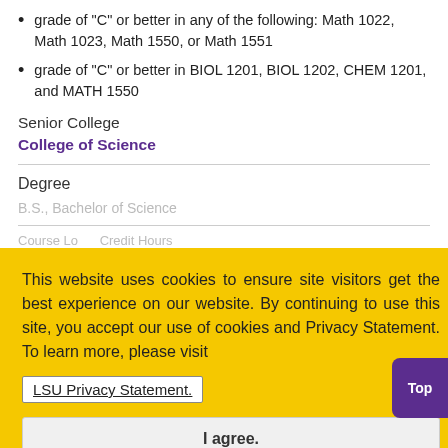grade of “C” or better in any of the following: Math 1022, Math 1023, Math 1550, or Math 1551
grade of “C” or better in BIOL 1201, BIOL 1202, CHEM 1201, and MATH 1550
Senior College
College of Science
Degree
This website uses cookies to ensure site visitors get the best experience on our website. By continuing to use this site, you accept our use of cookies and Privacy Statement. To learn more, please visit LSU Privacy Statement.
I agree.
Related Majors